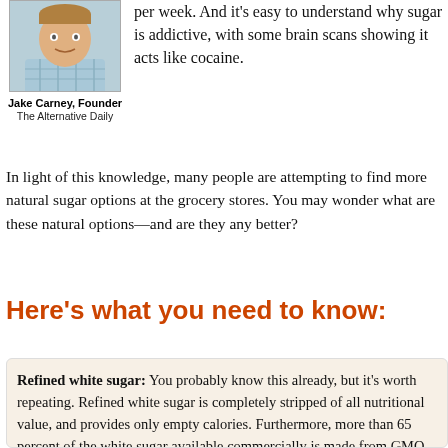[Figure (photo): Portrait photo of Jake Carney, Founder of The Alternative Daily, a man in a light blue plaid shirt]
Jake Carney, Founder
The Alternative Daily
per week. And it's easy to understand why sugar is addictive, with some brain scans showing it acts like cocaine.
In light of this knowledge, many people are attempting to find more natural sugar options at the grocery stores. You may wonder what are these natural options—and are they any better?
Here's what you need to know:
Refined white sugar: You probably know this already, but it's worth repeating. Refined white sugar is completely stripped of all nutritional value, and provides only empty calories. Furthermore, more than 65 percent of the white sugar available commercially is made from GMO sugar beets. Avoid it at all costs.
Brown sugar: Commercial brown sugar is nothing more than refined white sugar with some molasses